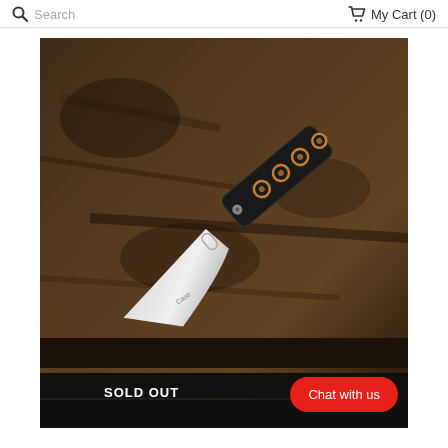Search   My Cart (0)
[Figure (photo): A folding knife with a silver blade and black handle with bronze/gold decorative circle accents, laid diagonally on a dark textured metal surface. The blade is open and the knife bears a brand logo.]
SOLD OUT
Chat with us